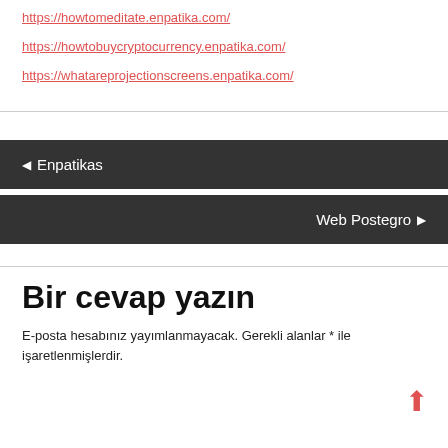https://howtomeditate.enpatika.com/
https://howtobuycryptocurrency.enpatika.com/
https://whatareprojectionscreens.enpatika.com/
◄ Enpatikas
Web Postegro ►
Bir cevap yazın
E-posta hesabınız yayımlanmayacak. Gerekli alanlar * ile işaretlenmişlerdir.